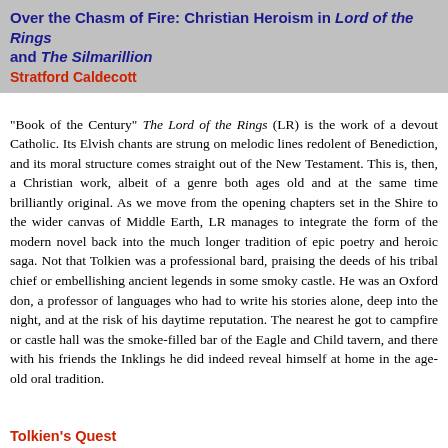Over the Chasm of Fire: Christian Heroism in Lord of the Rings and The Silmarillion
Stratford Caldecott
"Book of the Century" The Lord of the Rings (LR) is the work of a devout Catholic. Its Elvish chants are strung on melodic lines redolent of Benediction, and its moral structure comes straight out of the New Testament. This is, then, a Christian work, albeit of a genre both ages old and at the same time brilliantly original. As we move from the opening chapters set in the Shire to the wider canvas of Middle Earth, LR manages to integrate the form of the modern novel back into the much longer tradition of epic poetry and heroic saga. Not that Tolkien was a professional bard, praising the deeds of his tribal chief or embellishing ancient legends in some smoky castle. He was an Oxford don, a professor of languages who had to write his stories alone, deep into the night, and at the risk of his daytime reputation. The nearest he got to campfire or castle hall was the smoke-filled bar of the Eagle and Child tavern, and there with his friends the Inklings he did indeed reveal himself at home in the age-old oral tradition.
Tolkien's Quest
LR is not a flawless work, but it is richer and deeper than many books more carefully crafted by shallower men. What drove Tolkien so deep into the night was not merely the desire to tell a story, but the